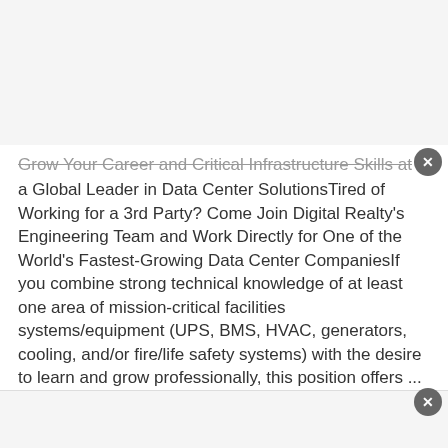Grow Your Career and Critical Infrastructure Skills at a Global Leader in Data Center SolutionsTired of Working for a 3rd Party? Come Join Digital Realty's Engineering Team and Work Directly for One of the World's Fastest-Growing Data Center CompaniesIf you combine strong technical knowledge of at least one area of mission-critical facilities systems/equipment (UPS, BMS, HVAC, generators, cooling, and/or fire/life safety systems) with the desire to learn and grow professionally, this position offers ... more
WhatJobs - 4 days ago
Senior Cybersecurity .NET Developer - Ashburn, VA